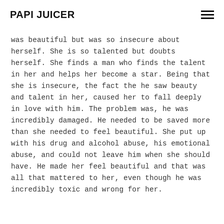PAPI JUICER
was beautiful but was so insecure about herself. She is so talented but doubts herself. She finds a man who finds the talent in her and helps her become a star. Being that she is insecure, the fact the he saw beauty and talent in her, caused her to fall deeply in love with him. The problem was, he was incredibly damaged. He needed to be saved more than she needed to feel beautiful. She put up with his drug and alcohol abuse, his emotional abuse, and could not leave him when she should have. He made her feel beautiful and that was all that mattered to her, even though he was incredibly toxic and wrong for her.